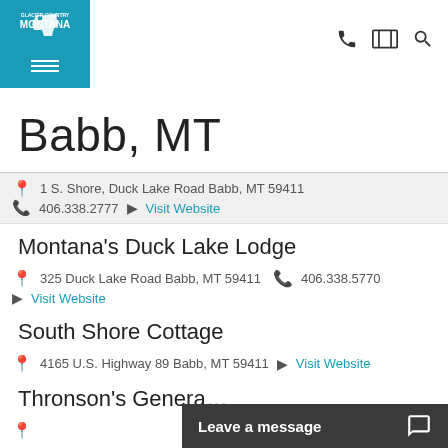[Figure (logo): Glacier Country Montana logo — white text on teal background with Montana state outline, and hamburger menu icon below]
Navigation icons: phone, map, search
Babb, MT
1 S. Shore, Duck Lake Road Babb, MT 59411 | 406.338.2777 | Visit Website
Montana's Duck Lake Lodge — 325 Duck Lake Road Babb, MT 59411 | 406.338.5770 | Visit Website
South Shore Cottage — 4165 U.S. Highway 89 Babb, MT 59411 | Visit Website
Thronson's Genera...
Leave a message